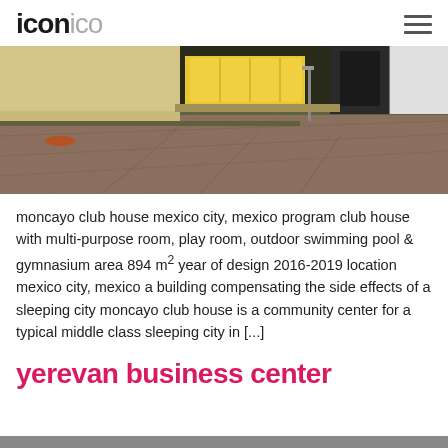ICONICO
[Figure (photo): Outdoor photo of a building exterior with a wide paved area, concrete walls, green grass strips, and yellow-lit windows in the background at dusk.]
moncayo club house mexico city, mexico program club house with multi-purpose room, play room, outdoor swimming pool & gymnasium area 894 m² year of design 2016-2019 location mexico city, mexico a building compensating the side effects of a sleeping city moncayo club house is a community center for a typical middle class sleeping city in [...]
yerevan business center